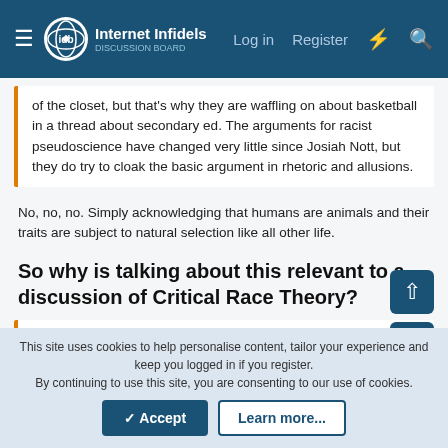Internet Infidels | Log in | Register
of the closet, but that's why they are waffling on about basketball in a thread about secondary ed. The arguments for racist pseudoscience have changed very little since Josiah Nott, but they do try to cloak the basic argument in rhetoric and allusions.
No, no, no. Simply acknowledging that humans are animals and their traits are subject to natural selection like all other life.
So why is talking about this relevant to a discussion of Critical Race Theory?
Otherwise, you'd have to assume that evolution and natural selection inexplicably stop for humans 200k years ago. Which is nonsense.
This site uses cookies to help personalise content, tailor your experience and keep you logged in if you register.
By continuing to use this site, you are consenting to our use of cookies.